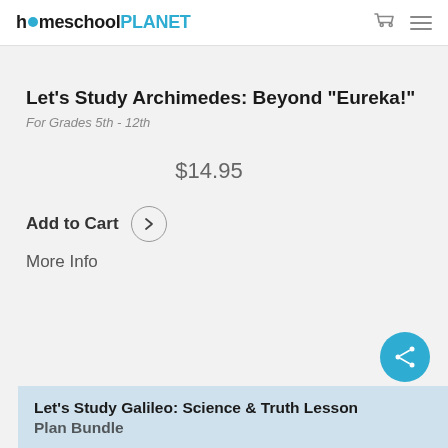homeschoolPLANET
Let's Study Archimedes: Beyond "Eureka!"
For Grades 5th - 12th
$14.95
Add to Cart
More Info
Let's Study Galileo: Science & Truth Lesson Plan Bundle